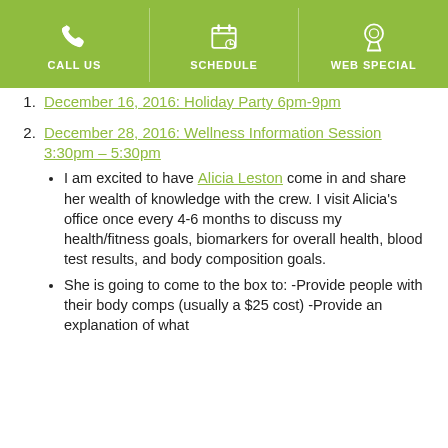CALL US | SCHEDULE | WEB SPECIAL
December 16, 2016: Holiday Party 6pm-9pm
December 28, 2016: Wellness Information Session 3:30pm – 5:30pm
I am excited to have Alicia Leston come in and share her wealth of knowledge with the crew. I visit Alicia's office once every 4-6 months to discuss my health/fitness goals, biomarkers for overall health, blood test results, and body composition goals.
She is going to come to the box to: -Provide people with their body comps (usually a $25 cost) -Provide an explanation of what